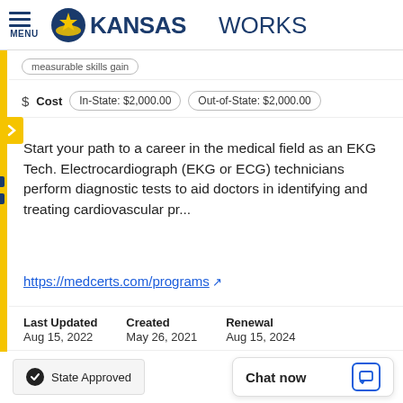MENU | KANSASWORKS
measurable skills gain
$ Cost  In-State: $2,000.00  Out-of-State: $2,000.00
Start your path to a career in the medical field as an EKG Tech. Electrocardiograph (EKG or ECG) technicians perform diagnostic tests to aid doctors in identifying and treating cardiovascular pr...
https://medcerts.com/programs
Last Updated
Aug 15, 2022
Created
May 26, 2021
Renewal
Aug 15, 2024
State Approved
Chat now